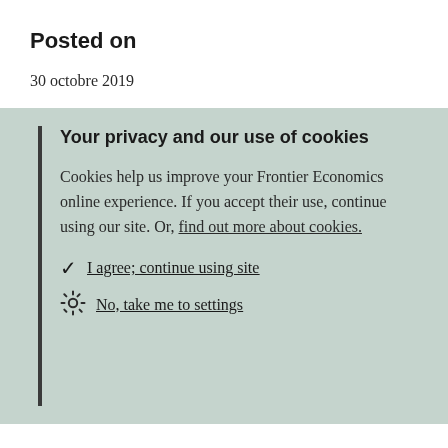Posted on
30 octobre 2019
Your privacy and our use of cookies
Cookies help us improve your Frontier Economics online experience. If you accept their use, continue using our site. Or, find out more about cookies.
I agree; continue using site
No, take me to settings